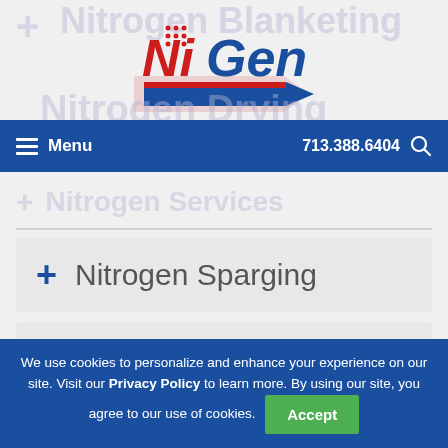[Figure (logo): NiGen logo with red and blue lettering and blue arrow]
Menu  713.388.6404
+ Nitrogen Sparging
+ Pig Launchers and Receivers
We use cookies to personalize and enhance your experience on our site. Visit our Privacy Policy to learn more. By using our site, you agree to our use of cookies.  Accept